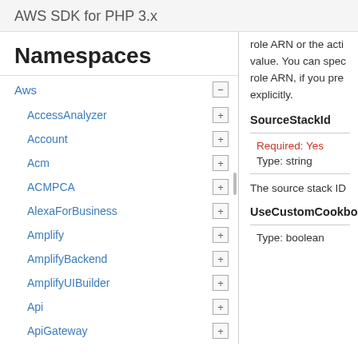AWS SDK for PHP 3.x
Namespaces
Aws
AccessAnalyzer
Account
Acm
ACMPCA
AlexaForBusiness
Amplify
AmplifyBackend
AmplifyUIBuilder
Api
ApiGateway
ApiGatewayManagementApi
role ARN or the acti
value. You can spec
role ARN, if you pre
explicitly.
SourceStackId
Required: Yes
Type: string
The source stack ID
UseCustomCookbooks
Type: boolean